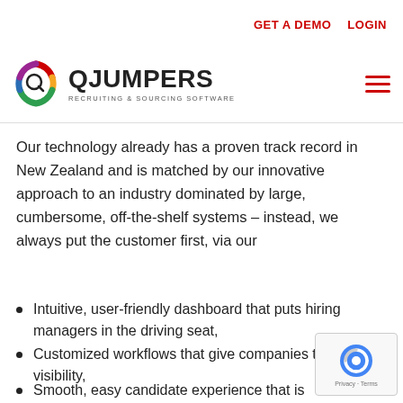GET A DEMO  LOGIN
[Figure (logo): QJumpers logo with colorful Q icon and text 'QJUMPERS RECRUITING & SOURCING SOFTWARE']
Our technology already has a proven track record in New Zealand and is matched by our innovative approach to an industry dominated by large, cumbersome, off-the-shelf systems – instead, we always put the customer first, via our
Intuitive, user-friendly dashboard that puts hiring managers in the driving seat,
Customized workflows that give companies total visibility,
Smooth, easy candidate experience that is mobile-optimized,